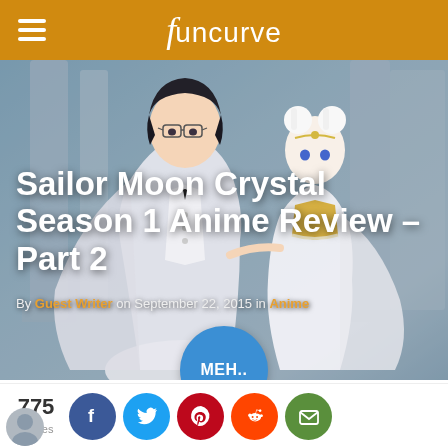funcurve
[Figure (illustration): Anime illustration from Sailor Moon Crystal showing two characters in formal white attire against a blue architectural background]
Sailor Moon Crystal Season 1 Anime Review – Part 2
By Guest Writer on September 22, 2015 in Anime
[Figure (infographic): Blue circular MEH.. rating button overlaid on the hero image]
775 Shares — social share buttons: Facebook, Twitter, Pinterest, Reddit, Email